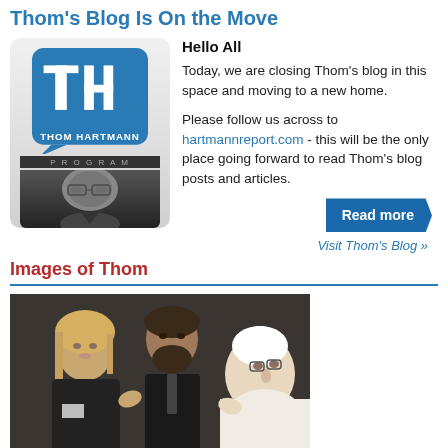Thom's Blog Is On the Move
Hello All
Today, we are closing Thom's blog in this space and moving to a new home.
Please follow us across to hartmannreport.com - this will be the only place going forward to read Thom's blog posts and articles.
[Figure (logo): Thom Hartmann Program logo with TH letters in a speech bubble and a black-and-white photo of Thom Hartmann's face]
Read more
Visit Thom's Blog »
Images of Thom
[Figure (photo): Photo showing a woman with blonde hair, a man with dark beard, and an elderly man in white (possibly the Pope) meeting or greeting each other]